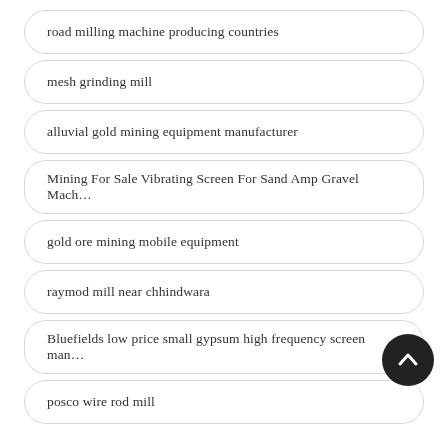road milling machine producing countries
mesh grinding mill
alluvial gold mining equipment manufacturer
Mining For Sale Vibrating Screen For Sand Amp Gravel Mach…
gold ore mining mobile equipment
raymod mill near chhindwara
Bluefields low price small gypsum high frequency screen man…
posco wire rod mill